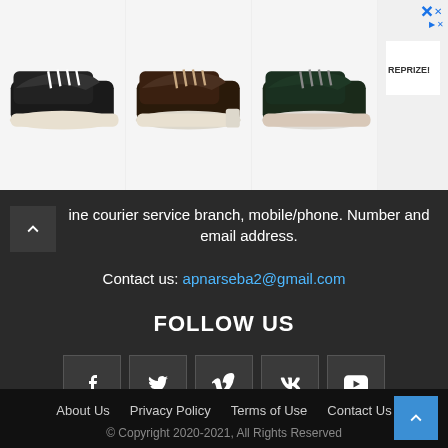[Figure (photo): Three sneaker product photos side by side: black sneaker, brown/dark sneaker, green/dark sneaker. Plus an ad slot on the right with a close button and a REPRIZE logo box.]
ine courier service branch, mobile/phone. Number and email address.
Contact us: apnarseba2@gmail.com
FOLLOW US
[Figure (infographic): Row of 5 social media icon buttons: Facebook (f), Twitter (bird), Vimeo (V), VK (VK), YouTube (play button)]
About Us   Privacy Policy   Terms of Use   Contact Us
© Copyright 2020-2021, All Rights Reserved